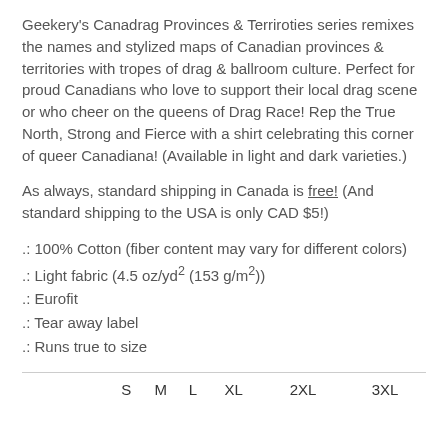Geekery's Canadrag Provinces & Terriroties series remixes the names and stylized maps of Canadian provinces & territories with tropes of drag & ballroom culture. Perfect for proud Canadians who love to support their local drag scene or who cheer on the queens of Drag Race! Rep the True North, Strong and Fierce with a shirt celebrating this corner of queer Canadiana! (Available in light and dark varieties.)
As always, standard shipping in Canada is free! (And standard shipping to the USA is only CAD $5!)
.: 100% Cotton (fiber content may vary for different colors)
.: Light fabric (4.5 oz/yd² (153 g/m²))
.: Eurofit
.: Tear away label
.: Runs true to size
|  | S | M | L | XL | 2XL | 3XL |
| --- | --- | --- | --- | --- | --- | --- |